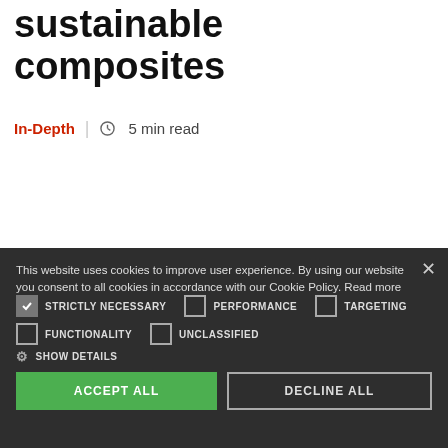sustainable composites
In-Depth  |  🕐 5 min read
Swindon firm Retrac Composites has developed a suite of technologies that it hopes will enable the widespread adoption of sustainable bio composites in the
This website uses cookies to improve user experience. By using our website you consent to all cookies in accordance with our Cookie Policy. Read more
✓ STRICTLY NECESSARY  ☐ PERFORMANCE  ☐ TARGETING
☐ FUNCTIONALITY  ☐ UNCLASSIFIED
⚙ SHOW DETAILS
ACCEPT ALL | DECLINE ALL